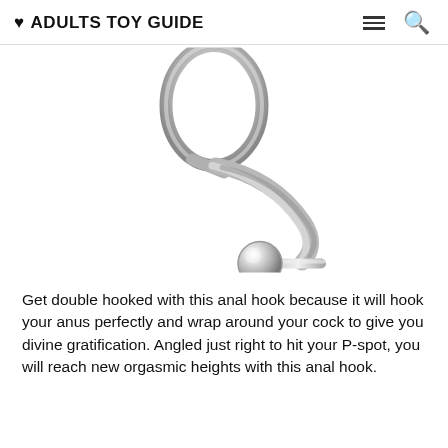Adults Toy Guide
[Figure (photo): A silver metal anal hook with a large oval ring at the top, curved shaft, and a spherical ball at the bottom end, photographed on white background.]
Get double hooked with this anal hook because it will hook your anus perfectly and wrap around your cock to give you divine gratification. Angled just right to hit your P-spot, you will reach new orgasmic heights with this anal hook.